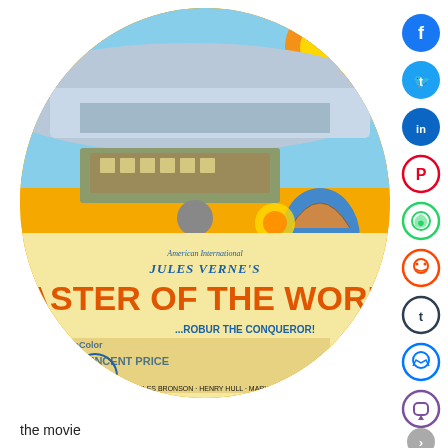[Figure (illustration): Movie poster for 'Jules Verne's Master of the World' (American International Pictures), displayed in an oval/circle shape. Shows a large airship, characters including Vincent Price, a hot air balloon, with text: JULES VERNE'S MASTER OF THE WORLD, IN MAGNACOLOR, starring VINCENT PRICE, ...ROBUR THE CONQUEROR!, CHARLES BRONSON · HENRY HULL · MARY ___]
[Figure (infographic): Vertical social sharing bar on the right side with icons for Facebook, Twitter, LinkedIn, Pinterest, WhatsApp, Reddit, Tumblr, Messenger, Viber, and a forward/next arrow button.]
the movie